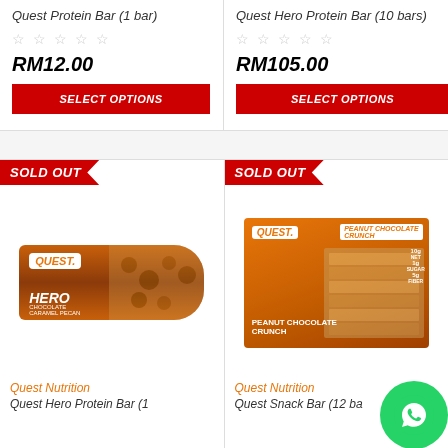Quest Protein Bar (1 bar)
☆ ☆ ☆ ☆ ☆
RM12.00
SELECT OPTIONS
Quest Hero Protein Bar (10 bars)
☆ ☆ ☆ ☆ ☆
RM105.00
SELECT OPTIONS
[Figure (photo): Quest Hero Protein Bar - Chocolate Caramel Pecan flavored bar in orange packaging, with SOLD OUT banner overlay. Shows Quest Nutrition branding.]
Quest Nutrition
Quest Hero Protein Bar (1
[Figure (photo): Quest Snack Bar Peanut Chocolate Crunch - box of bars in orange packaging showing stacked bars. SOLD OUT banner overlay. WhatsApp chat button visible bottom right.]
Quest Nutrition
Quest Snack Bar (12 ba